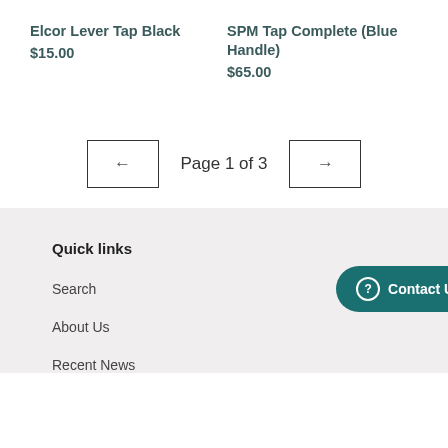Elcor Lever Tap Black
$15.00
SPM Tap Complete (Blue Handle)
$65.00
Page 1 of 3
Quick links
Search
About Us
Recent News